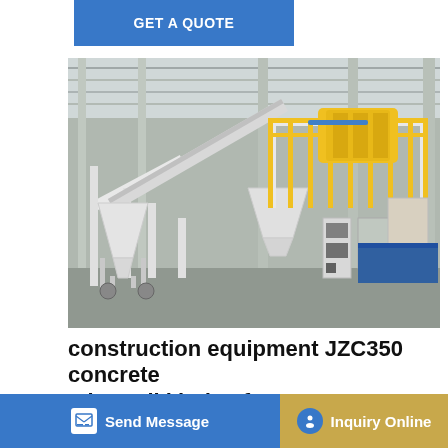GET A QUOTE
[Figure (photo): Industrial concrete batching plant / concrete mixer (JZC350) inside a large factory warehouse, showing white metal frame structures, yellow mixing drum elevated on a platform, conveyor belt, and industrial equipment.]
construction equipment JZC350 concrete mixer,All kinds of
construction equipment JZC350 concrete mixer,All kinds of mixer,rotary mixer. JZC Concrete Mixer 1.JZC mixer ... of conc... reverse...
Send Message
Inquiry Online